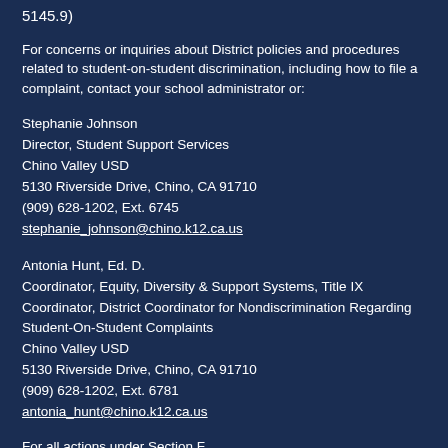5145.9)
For concerns or inquiries about District policies and procedures related to student-on-student discrimination, including how to file a complaint, contact your school administrator or:
Stephanie Johnson
Director, Student Support Services
Chino Valley USD
5130 Riverside Drive, Chino, CA 91710
(909) 628-1202, Ext. 6745
stephanie_johnson@chino.k12.ca.us
Antonia Hunt, Ed. D.
Coordinator, Equity, Diversity & Support Systems, Title IX Coordinator, District Coordinator for Nondiscrimination Regarding Student-On-Student Complaints
Chino Valley USD
5130 Riverside Drive, Chino, CA 91710
(909) 628-1202, Ext. 6781
antonia_hunt@chino.k12.ca.us
For all actions under Section F...